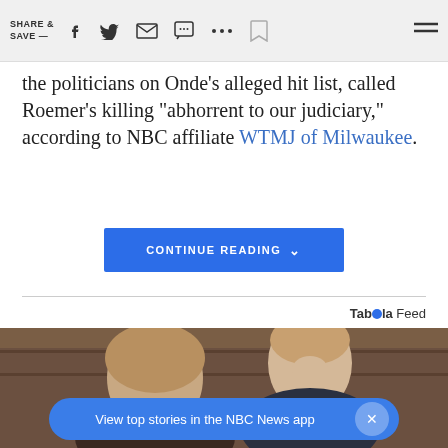SHARE & SAVE —
the politicians on Onde's alleged hit list, called Roemer's killing "abhorrent to our judiciary," according to NBC affiliate WTMJ of Milwaukee.
CONTINUE READING
Taboola Feed
[Figure (photo): Photo of two people, a woman with blonde hair and a man behind her, in a warm-toned indoor setting. An overlay shows a mute button reading 'TAP TO UNMUTE'.]
View top stories in the NBC News app